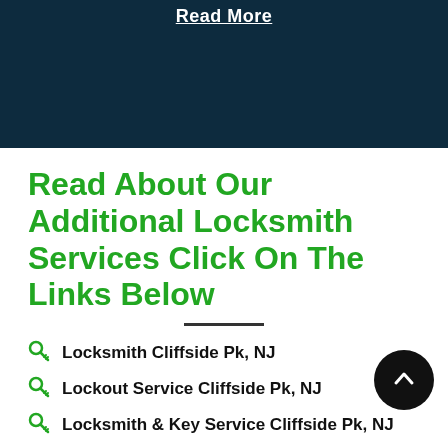Read More
Read About Our Additional Locksmith Services Click On The Links Below
Locksmith Cliffside Pk, NJ
Lockout Service Cliffside Pk, NJ
Locksmith & Key Service Cliffside Pk, NJ
Locksmiths Service Cliffside Pk, NJ
Locksmith Around Me Cliffside Pk, NJ